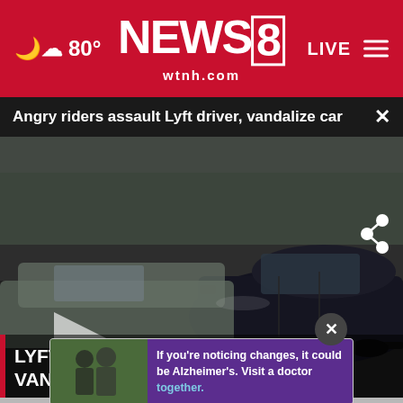80° NEWS8 wtnh.com LIVE
Angry riders assault Lyft driver, vandalize car
[Figure (screenshot): Video thumbnail showing dark SUV/car in a parking lot with play button overlay and lower third text: LYFT DRIVER ASSAULTED, CAR VANDALIZED]
If you're noticing changes, it could be Alzheimer's. Visit a doctor together.